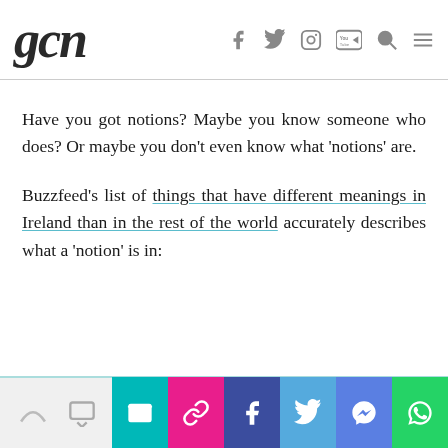gcn
Have you got notions? Maybe you know someone who does? Or maybe you don't even know what 'notions' are.
Buzzfeed's list of things that have different meanings in Ireland than in the rest of the world accurately describes what a 'notion' is in:
[share bar with email, link, facebook, twitter, messenger, whatsapp buttons]